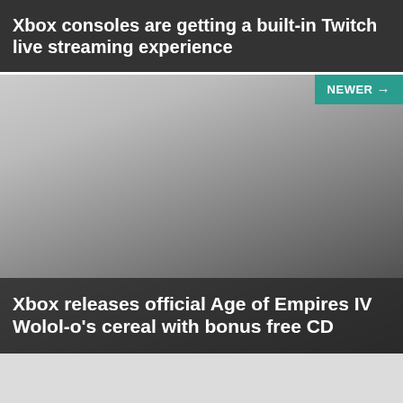Xbox consoles are getting a built-in Twitch live streaming experience
[Figure (screenshot): Dark gradient image card with a 'NEWER→' teal button in the top right corner]
Xbox releases official Age of Empires IV Wolol-o's cereal with bonus free CD
[Figure (logo): Teal circular logo with white 'ON' text, partially visible at the bottom of the page on a light grey background]